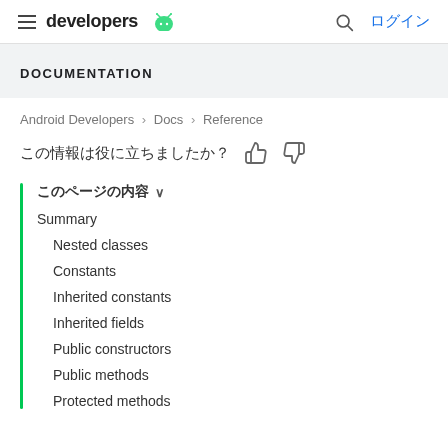developers  ログイン
DOCUMENTATION
Android Developers > Docs > Reference
この情報は役に立ちましたか？
このページの内容 ∨
Summary
Nested classes
Constants
Inherited constants
Inherited fields
Public constructors
Public methods
Protected methods